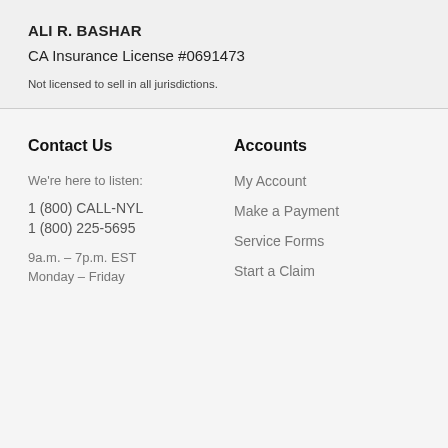ALI R. BASHAR
CA Insurance License #0691473
Not licensed to sell in all jurisdictions.
Contact Us
We're here to listen:
1 (800) CALL-NYL
1 (800) 225-5695
9a.m. – 7p.m. EST
Monday – Friday
Accounts
My Account
Make a Payment
Service Forms
Start a Claim